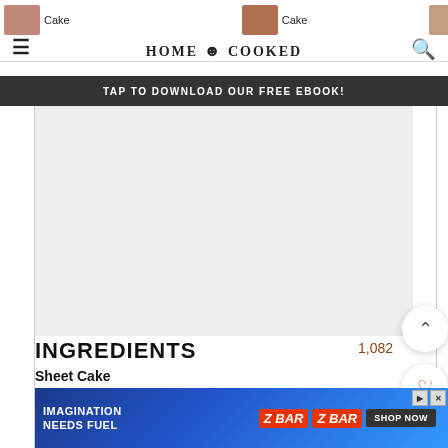HOME COOKED | QUICK | EASY | COMFORT
TAP TO DOWNLOAD OUR FREE EBOOK!
[Figure (other): Advertisement placeholder (gray rectangle)]
INGREDIENTS
1,082
Sheet Cake
1 cup butter  2 sticks
1 cup water
[Figure (other): Advertisement banner: IMAGINATION NEEDS FUEL - ZBAR - SHOP NOW]